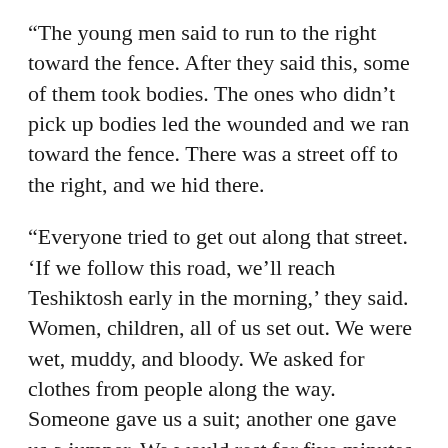"The young men said to run to the right toward the fence. After they said this, some of them took bodies. The ones who didn't pick up bodies led the wounded and we ran toward the fence. There was a street off to the right, and we hid there.
"Everyone tried to get out along that street. 'If we follow this road, we'll reach Teshiktosh early in the morning,' they said. Women, children, all of us set out. We were wet, muddy, and bloody. We asked for clothes from people along the way. Someone gave us a suit; another one gave us a jumper. We would rest for five minutes along the way. People picked up and carried the women and children who couldn't walk.
"If we don't make it by dawn, they'll catch up with us and start shooting, we thought. But if we reach Teshiktosh and cross over to Kyrgyzstan, we'll be